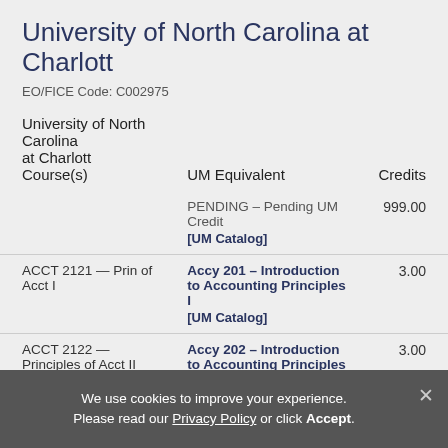University of North Carolina at Charlott
EO/FICE Code: C002975
| University of North Carolina at Charlott Course(s) | UM Equivalent | Credits |
| --- | --- | --- |
|  | PENDING – Pending UM Credit [UM Catalog] | 999.00 |
| ACCT 2121 — Prin of Acct I | Accy 201 – Introduction to Accounting Principles I [UM Catalog] | 3.00 |
| ACCT 2122 — Principles of Acct II | Accy 202 – Introduction to Accounting Principles II [UM Catalog] | 3.00 |
| ACCT 3126 — Manager... | Accy 300 – Cost Control... | 3.00 |
We use cookies to improve your experience. Please read our Privacy Policy or click Accept.